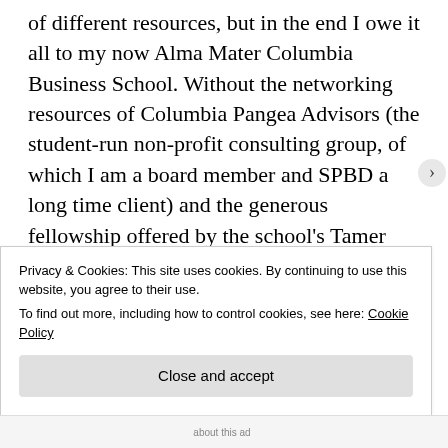of different resources, but in the end I owe it all to my now Alma Mater Columbia Business School. Without the networking resources of Columbia Pangea Advisors (the student-run non-profit consulting group, of which I am a board member and SPBD a long time client) and the generous fellowship offered by the school's Tamer Center for Social Enterprise, I would not have had the opportunity to embark on this amazing journey, mint all the beautiful
Privacy & Cookies: This site uses cookies. By continuing to use this website, you agree to their use.
To find out more, including how to control cookies, see here: Cookie Policy
Close and accept